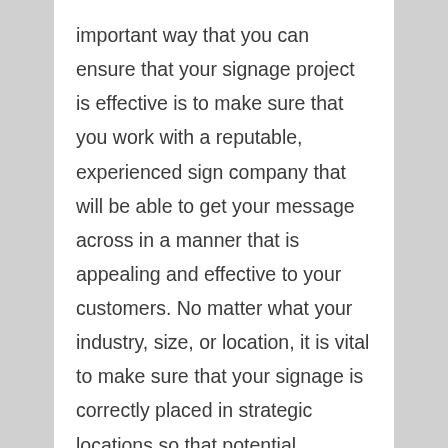important way that you can ensure that your signage project is effective is to make sure that you work with a reputable, experienced sign company that will be able to get your message across in a manner that is appealing and effective to your customers. No matter what your industry, size, or location, it is vital to make sure that your signage is correctly placed in strategic locations so that potential customers can easily identify your products and services. If your sign company is able to effectively plan and execute your project, your business owners can rest assured that their business is on the right path towards enhanced profitability.